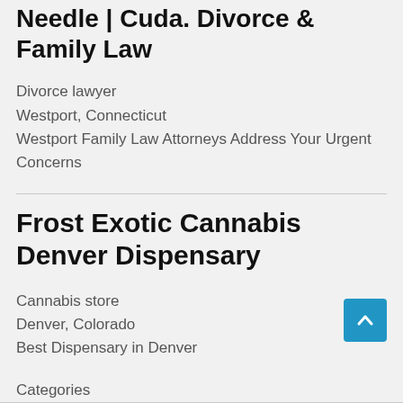Needle | Cuda. Divorce & Family Law
Divorce lawyer
Westport, Connecticut
Westport Family Law Attorneys Address Your Urgent Concerns
Frost Exotic Cannabis Denver Dispensary
Cannabis store
Denver, Colorado
Best Dispensary in Denver
Categories